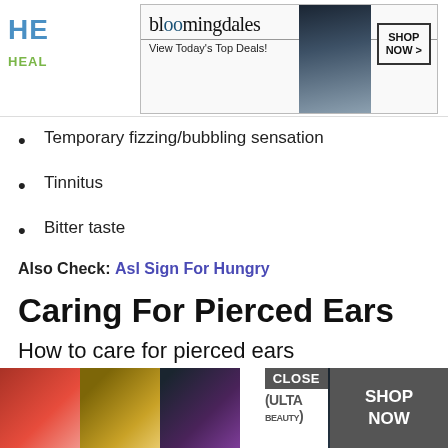HE... HEAL...
[Figure (screenshot): Bloomingdale's advertisement banner: 'bloomingdales - View Today's Top Deals! SHOP NOW >' with model in hat]
Temporary fizzing/bubbling sensation
Tinnitus
Bitter taste
Also Check: Asl Sign For Hungry
Caring For Pierced Ears
How to care for pierced ears
Although ear piercings are more common and can be less risky than other body piercings, they can still c[CLOSE] compl[...] ing about [...]
[Figure (screenshot): ULTA beauty advertisement banner at bottom of page with makeup images and SHOP NOW button]